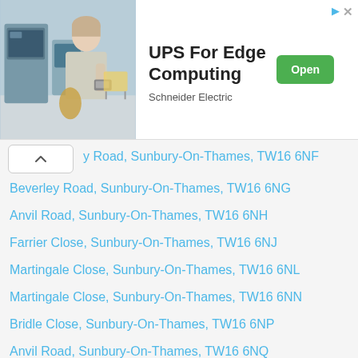[Figure (screenshot): Advertisement banner for UPS For Edge Computing by Schneider Electric with an Open button]
…y Road, Sunbury-On-Thames, TW16 6NF
Beverley Road, Sunbury-On-Thames, TW16 6NG
Anvil Road, Sunbury-On-Thames, TW16 6NH
Farrier Close, Sunbury-On-Thames, TW16 6NJ
Martingale Close, Sunbury-On-Thames, TW16 6NL
Martingale Close, Sunbury-On-Thames, TW16 6NN
Bridle Close, Sunbury-On-Thames, TW16 6NP
Anvil Road, Sunbury-On-Thames, TW16 6NQ
Anvil Road, Sunbury-On-Thames, TW16 6NR
Homewaters Avenue, Sunbury-On-Thames, TW16 6NS
Springfield Grove, Sunbury-On-Thames, TW16 6NT
The Ridings, Sunbury-On-Thames, TW16 6NU